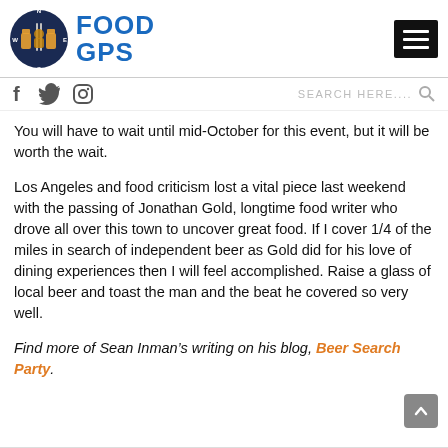FOOD GPS
You will have to wait until mid-October for this event, but it will be worth the wait.
Los Angeles and food criticism lost a vital piece last weekend with the passing of Jonathan Gold, longtime food writer who drove all over this town to uncover great food. If I cover 1/4 of the miles in search of independent beer as Gold did for his love of dining experiences then I will feel accomplished. Raise a glass of local beer and toast the man and the beat he covered so very well.
Find more of Sean Inman’s writing on his blog, Beer Search Party.